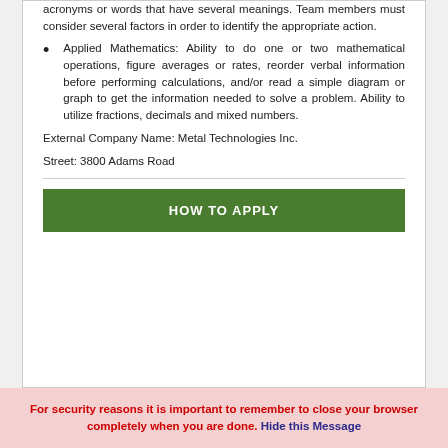acronyms or words that have several meanings. Team members must consider several factors in order to identify the appropriate action.
Applied Mathematics: Ability to do one or two mathematical operations, figure averages or rates, reorder verbal information before performing calculations, and/or read a simple diagram or graph to get the information needed to solve a problem. Ability to utilize fractions, decimals and mixed numbers.
External Company Name: Metal Technologies Inc.
Street: 3800 Adams Road
HOW TO APPLY
For security reasons it is important to remember to close your browser completely when you are done. Hide this Message